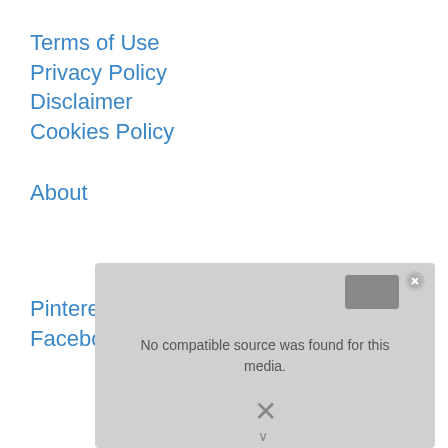Terms of Use
Privacy Policy
Disclaimer
Cookies Policy
About
Pinterest
Facebook
© 2022 airfryerhealthy.com • Built with
[Figure (screenshot): Video player overlay showing 'No compatible source was found for this media.' message with a close button and X dismiss button]